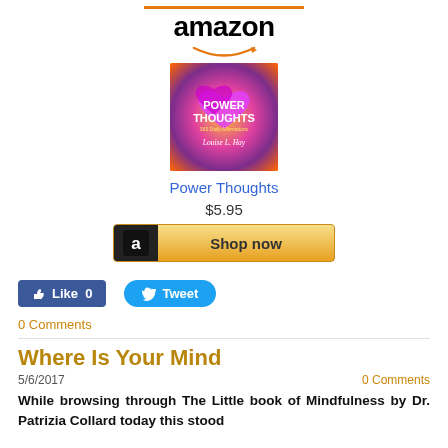[Figure (logo): Amazon logo with orange bar above and smile arrow below]
[Figure (photo): Book cover of Power Thoughts: 365 Daily Affirmations by Louise L. Hay, colorful with pink hearts]
Power Thoughts
$5.95
[Figure (other): Shop now button with Amazon 'a' logo icon on dark background and gold gradient]
[Figure (other): Facebook Like button showing 0 likes and Twitter Tweet button]
0 Comments
Where Is Your Mind
5/6/2017
0 Comments
While browsing through The Little book of Mindfulness by Dr. Patrizia Collard today this stood